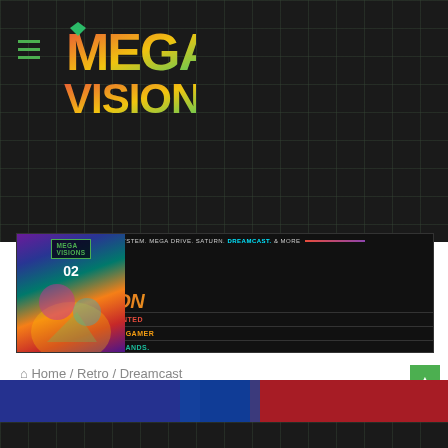[Figure (logo): Mega Visions logo with stylized M and green/red/yellow lettering on dark grid background]
[Figure (infographic): Mega Visions magazine banner ad: 'Welcome To The Next Vision' with colorful gradient text, magazine cover image, text WRITTEN, DESIGNED, PRINTED / FOR THE MODERN RETRO GAMER / THE FUTURE IS IN YOUR HANDS. / PATREON.COM/MEGAVISIONS]
Home / Retro / Dreamcast
Dreamcast
[Figure (photo): Partial image strip at bottom of page with blue and red colors]